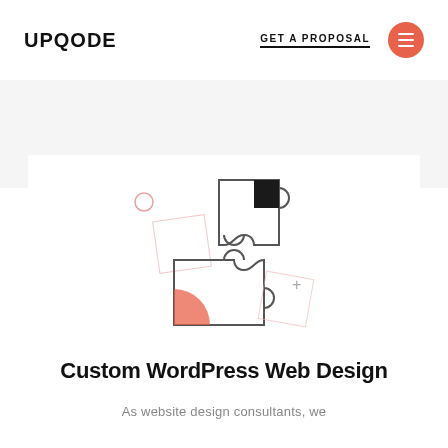UPQODE  GET A PROPOSAL
[Figure (illustration): Two interlocking puzzle pieces illustration with decorative elements: a small pink circle, a pink diamond outline, a puzzle piece with black corner accent (upper right), and a puzzle piece with pink quarter-circle in corner (lower left), plus a '+' symbol.]
Custom WordPress Web Design
As website design consultants, we